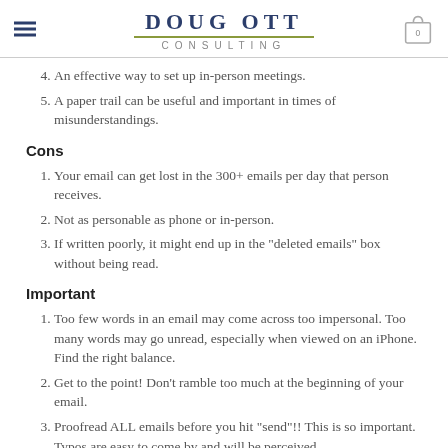DOUG OTT CONSULTING
4. An effective way to set up in-person meetings.
5. A paper trail can be useful and important in times of misunderstandings.
Cons
1. Your email can get lost in the 300+ emails per day that person receives.
2. Not as personable as phone or in-person.
3. If written poorly, it might end up in the "deleted emails" box without being read.
Important
1. Too few words in an email may come across too impersonal. Too many words may go unread, especially when viewed on an iPhone. Find the right balance.
2. Get to the point! Don't ramble too much at the beginning of your email.
3. Proofread ALL emails before you hit "send"!! This is so important. Typos are easy to come by and will be perceived